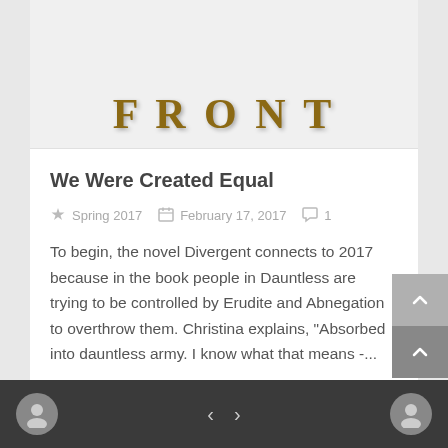[Figure (illustration): Partial decorative title text in ornate golden/brown serif font, partially cropped at top of card]
We Were Created Equal
Spring 2017   February 17, 2017   1
To begin, the novel Divergent connects to 2017 because in the book people in Dauntless are trying to be controlled by Erudite and Abnegation to overthrow them. Christina explains, "Absorbed into dauntless army. I know what that means -...
READ MORE